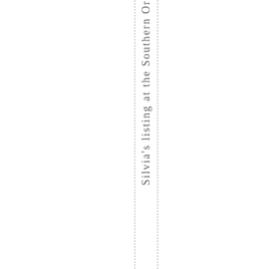Silvia's listing at the Southern Or